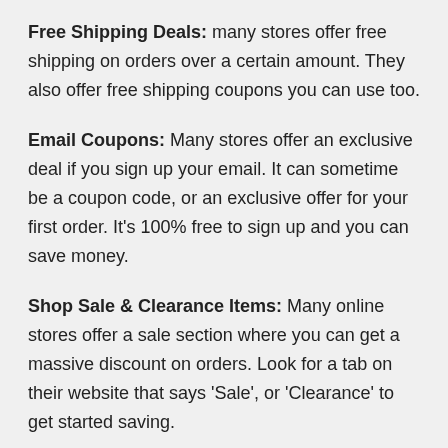Free Shipping Deals: many stores offer free shipping on orders over a certain amount. They also offer free shipping coupons you can use too.
Email Coupons: Many stores offer an exclusive deal if you sign up your email. It can sometime be a coupon code, or an exclusive offer for your first order. It's 100% free to sign up and you can save money.
Shop Sale & Clearance Items: Many online stores offer a sale section where you can get a massive discount on orders. Look for a tab on their website that says 'Sale', or 'Clearance' to get started saving.
Download the App: Most stores offer a free app you can download and order directly. Many times stores also offer a coupon code you